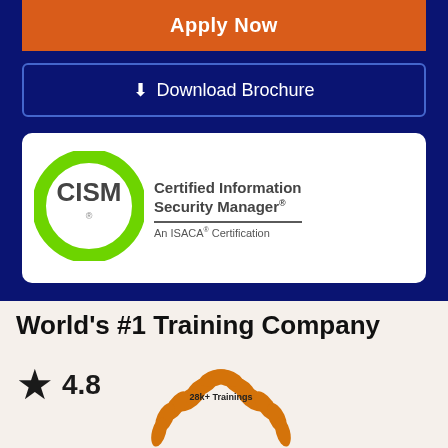Apply Now
Download Brochure
[Figure (logo): CISM Certified Information Security Manager - An ISACA Certification logo with green circle]
World's #1 Training Company
[Figure (infographic): Star rating 4.8 with black star, orange laurel wreath with '28k+ Trainings' text, and five orange stars below]